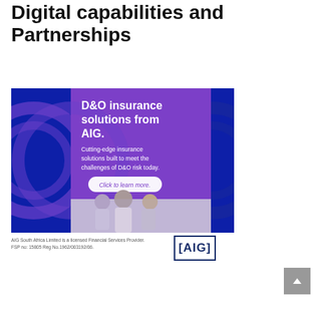Digital capabilities and Partnerships
January 28, 2022
[Figure (illustration): AIG advertisement banner for D&O insurance solutions. Dark blue and purple background with circular design elements. White text reads: 'D&O insurance solutions from AIG.' followed by 'Cutting-edge insurance solutions built to meet the challenges of D&O risk today.' and a 'Click to learn more.' button. Lower half shows a photo of three businesspeople in conversation.]
AIG South Africa Limited is a licensed Financial Services Provider. FSP no: 15805 Reg No.1962/003192/06.